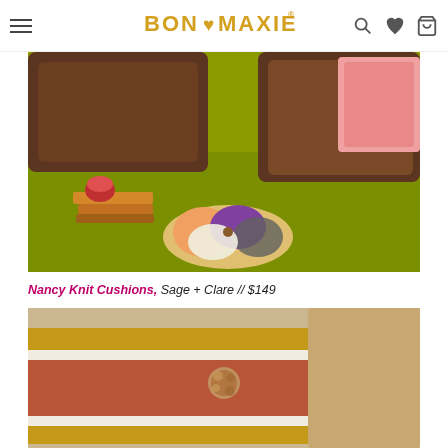BON MAXIE
[Figure (photo): Photo of colorful patchwork cushion on a yellow-green rug, with brown leather ottomans in the background and books/candle in foreground. Shopping context for home decor.]
Nancy Knit Cushions, Sage + Clare // $149
[Figure (photo): Close-up photo of a striped cushion in terracotta red, mustard yellow, and cream/white with a pom-pom button detail.]